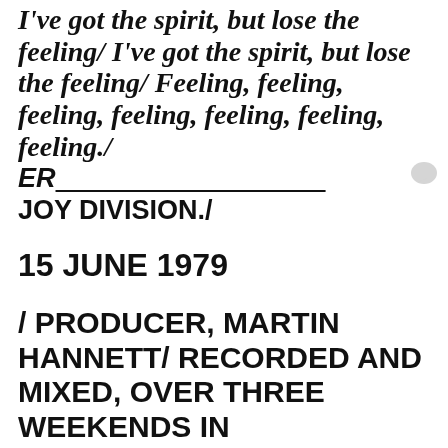I've got the spirit, but lose the feeling/ I've got the spirit, but lose the feeling/ Feeling, feeling, feeling, feeling, feeling, feeling, feeling./ ER___________________ JOY DIVISION./
15 JUNE 1979
/ PRODUCER, MARTIN HANNETT/ RECORDED AND MIXED, OVER THREE WEEKENDS IN